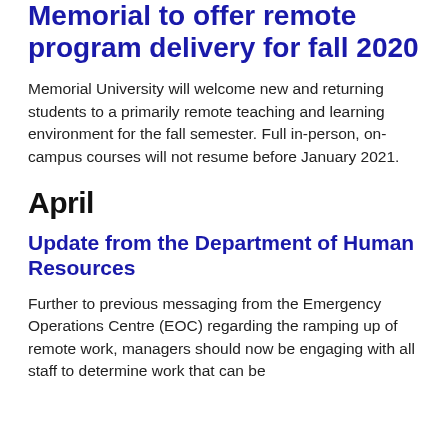Memorial to offer remote program delivery for fall 2020
Memorial University will welcome new and returning students to a primarily remote teaching and learning environment for the fall semester. Full in-person, on-campus courses will not resume before January 2021.
April
Update from the Department of Human Resources
Further to previous messaging from the Emergency Operations Centre (EOC) regarding the ramping up of remote work, managers should now be engaging with all staff to determine work that can be